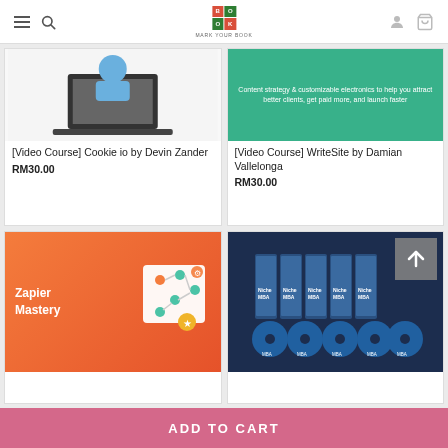MARK YOUR BOOK
[Figure (photo): Product image for Cookie io video course - person with laptop]
[Video Course] Cookie io by Devin Zander
RM30.00
[Figure (photo): Product image for WriteSite video course - green banner with marketing text]
[Video Course] WriteSite by Damian Vallelonga
RM30.00
[Figure (photo): Zapier Mastery course thumbnail - orange background with automation workflow graphic]
[Figure (photo): Niche MBA course thumbnail - dark blue background with multiple DVD/book set]
ADD TO CART